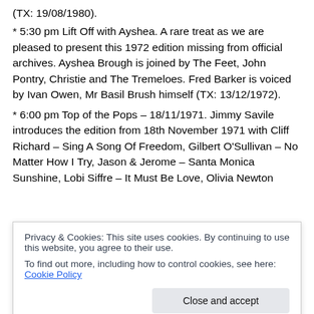(TX: 19/08/1980).
* 5:30 pm Lift Off with Ayshea. A rare treat as we are pleased to present this 1972 edition missing from official archives. Ayshea Brough is joined by The Feet, John Pontry, Christie and The Tremeloes. Fred Barker is voiced by Ivan Owen, Mr Basil Brush himself (TX: 13/12/1972).
* 6:00 pm Top of the Pops – 18/11/1971. Jimmy Savile introduces the edition from 18th November 1971 with Cliff Richard – Sing A Song Of Freedom, Gilbert O'Sullivan – No Matter How I Try, Jason & Jerome – Santa Monica Sunshine, Lobi Siffre – It Must Be Love, Olivia Newton
Privacy & Cookies: This site uses cookies. By continuing to use this website, you agree to their use.
To find out more, including how to control cookies, see here: Cookie Policy
T.Rex – Jeepster, and Piglets – Johnny Reggae. This